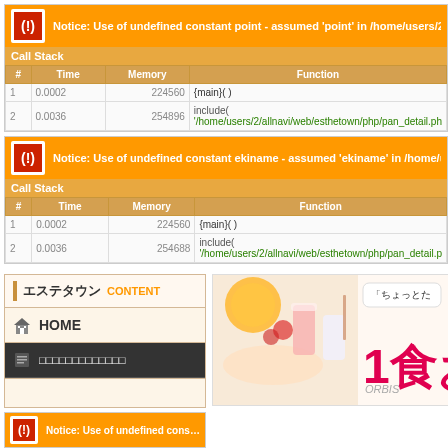| # | Time | Memory | Function |
| --- | --- | --- | --- |
| 1 | 0.0002 | 224560 | {main}( ) |
| 2 | 0.0036 | 254896 | include( '/home/users/2/allnavi/web/esthetown/php/pan_detail.ph… |
| # | Time | Memory | Function |
| --- | --- | --- | --- |
| 1 | 0.0002 | 224560 | {main}( ) |
| 2 | 0.0036 | 254688 | include( '/home/users/2/allnavi/web/esthetown/php/pan_detail.p… |
エステタウン CONTENT
HOME
□□□□□□□□□□□□□
[Figure (photo): ORBIS advertisement with food/drink image and Japanese text 1食おき]
Notice: Use of undefined cons…